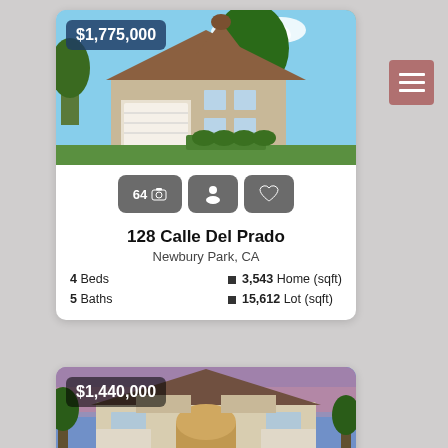[Figure (photo): Exterior photo of a large two-story home with brown roof, white garage door, landscaping and blue sky. Price overlay: $1,775,000]
64 [camera icon] [person icon] [heart icon]
128 Calle Del Prado
Newbury Park, CA
4 Beds • 3,543 Home (sqft)
5 Baths • 15,612 Lot (sqft)
[Figure (photo): Exterior photo of a large home with arched entry, two-story stucco facade, pink and blue sunset sky. Price overlay: $1,440,000]